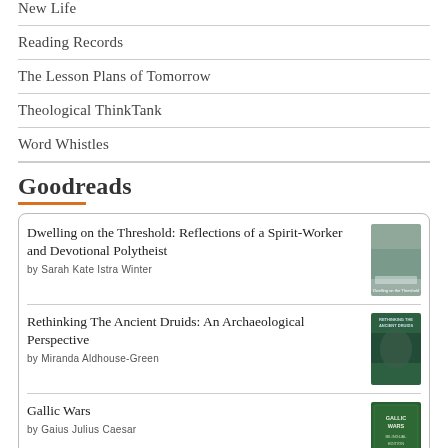New Life
Reading Records
The Lesson Plans of Tomorrow
Theological ThinkTank
Word Whistles
Goodreads
Dwelling on the Threshold: Reflections of a Spirit-Worker and Devotional Polytheist
by Sarah Kate Istra Winter
Rethinking The Ancient Druids: An Archaeological Perspective
by Miranda Aldhouse-Green
Gallic Wars
by Gaius Julius Caesar